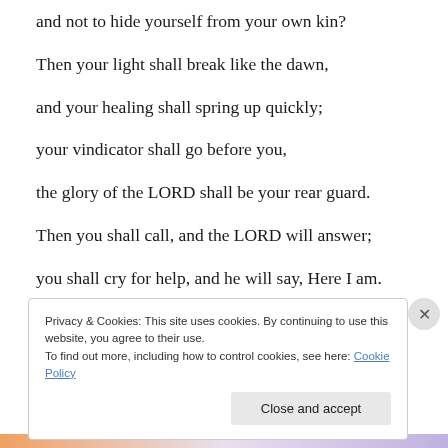and not to hide yourself from your own kin?
Then your light shall break like the dawn,
and your healing shall spring up quickly;
your vindicator shall go before you,
the glory of the LORD shall be your rear guard.
Then you shall call, and the LORD will answer;
you shall cry for help, and he will say, Here I am.
Privacy & Cookies: This site uses cookies. By continuing to use this website, you agree to their use.
To find out more, including how to control cookies, see here: Cookie Policy